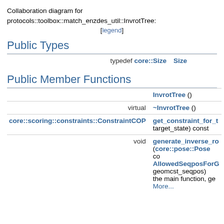Collaboration diagram for protocols::toolbox::match_enzdes_util::InvrotTree:
[legend]
Public Types
|  |  |
| --- | --- |
| typedef core::Size | Size |
Public Member Functions
|  |  |
| --- | --- |
|  | InvrotTree () |
| virtual | ~InvrotTree () |
| core::scoring::constraints::ConstraintCOP | get_constraint_for_t target_state) const |
| void | generate_inverse_ro (core::pose::Pose co AllowedSeqposForG geomcst_seqpos) the main function, ge More... |